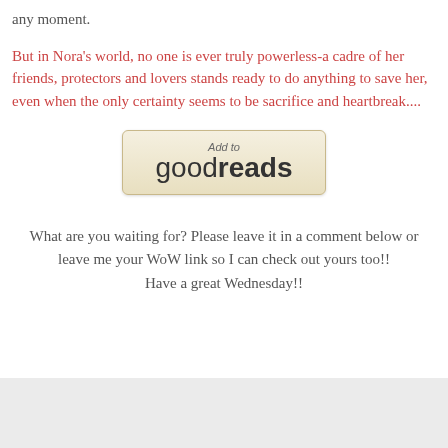any moment.
But in Nora's world, no one is ever truly powerless-a cadre of her friends, protectors and lovers stands ready to do anything to save her, even when the only certainty seems to be sacrifice and heartbreak....
[Figure (logo): Add to Goodreads button with tan gradient background and bold Goodreads text]
What are you waiting for? Please leave it in a comment below or leave me your WoW link so I can check out yours too!!
Have a great Wednesday!!